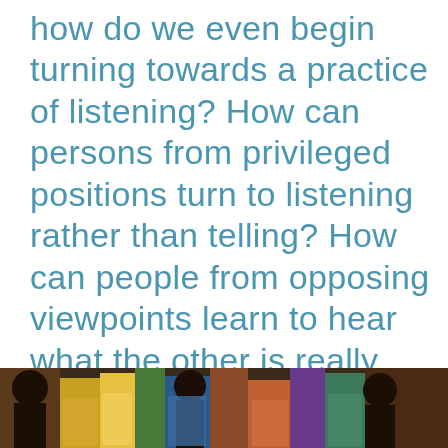how do we even begin turning towards a practice of listening? How can persons from privileged positions turn to listening rather than telling? How can people from opposing viewpoints learn to hear what the other is really saying?

Strangely, I think reading literature can help with that.
[Figure (photo): A colorful painting or photograph showing people reading books, with warm earthy tones including yellows, oranges, blues, and greens visible at the bottom of the page.]